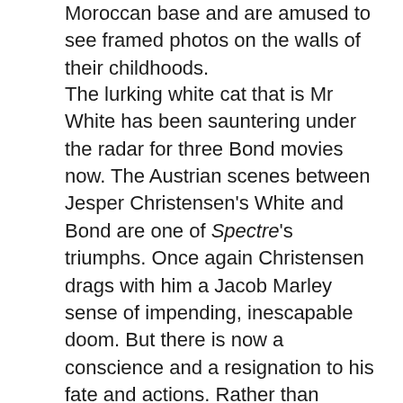Moroccan base and are amused to see framed photos on the walls of their childhoods.
The lurking white cat that is Mr White has been sauntering under the radar for three Bond movies now. The Austrian scenes between Jesper Christensen's White and Bond are one of Spectre's triumphs. Once again Christensen drags with him a Jacob Marley sense of impending, inescapable doom. But there is now a conscience and a resignation to his fate and actions. Rather than wholly using the Hannes Oberhauser strand of Ian Fleming's 1966 short story collection Octopussy & The Living Daylights as expected, it is Mr White who is afforded writers John Logan, Robert Wade, Neal Purvis and Jez Butterworth nod to the source material. Instead of Octopussy's father in the 1983 film being provided with an honourable alternative to court martialling and an shameful death, it is now Mr White in a scene that comes back to haunt Bond in quite a marked, devilish way.